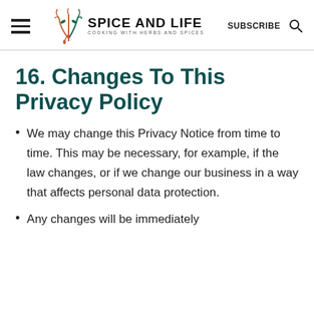SPICE AND LIFE — COOKING WITH HERBS AND SPICES | SUBSCRIBE
16. Changes To This Privacy Policy
We may change this Privacy Notice from time to time. This may be necessary, for example, if the law changes, or if we change our business in a way that affects personal data protection.
Any changes will be immediately